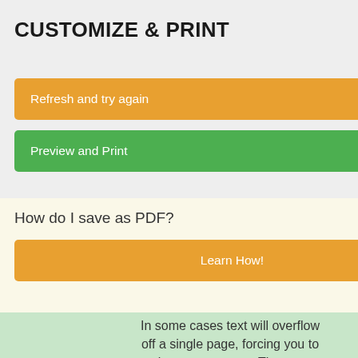CUSTOMIZE & PRINT
Refresh and try again
Preview and Print
How do I save as PDF?
Learn How!
In some cases text will overflow off a single page, forcing you to print on two pages. There are several ways to customize the page to fit a single sheet.
Learn How!
[Figure (screenshot): Toggle Controls button - blue button at top right of screen]
"Aromatic, w flavors melon, pea acidity and
The Auth Date
"The 2010 G very dense a concentrate bitter in the
EDERICK WILDMAN and our ence, personalize content and ements about our products. you agree to the use of cookies nd our partners. To learn more e our Privacy Policy.
y policy